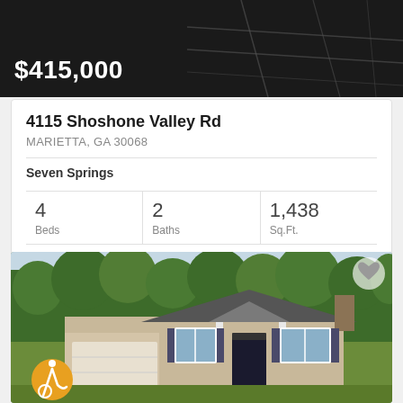$415,000
4115 Shoshone Valley Rd
MARIETTA, GA 30068
Seven Springs
| Beds | Baths | Sq.Ft. |
| --- | --- | --- |
| 4 | 2 | 1,438 |
FMLS™ First United Realty, Inc.
[Figure (photo): Exterior photo of a brick ranch-style home with grey roof, white trim, attached garage, and surrounding trees. Accessibility icon in bottom-left corner and heart/favorite button in top-right corner.]